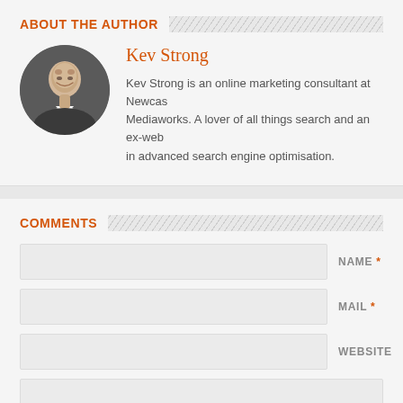ABOUT THE AUTHOR
[Figure (photo): Circular headshot photo of Kev Strong, a smiling man in a white shirt against a dark background]
Kev Strong
Kev Strong is an online marketing consultant at Newcastle Mediaworks. A lover of all things search and an ex-web... in advanced search engine optimisation.
COMMENTS
NAME *
MAIL *
WEBSITE